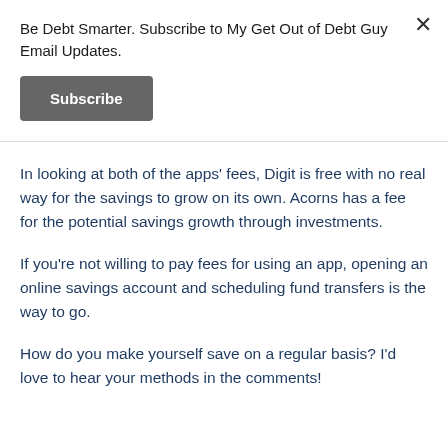Be Debt Smarter. Subscribe to My Get Out of Debt Guy Email Updates.
Subscribe
In looking at both of the apps' fees, Digit is free with no real way for the savings to grow on its own. Acorns has a fee for the potential savings growth through investments.
If you're not willing to pay fees for using an app, opening an online savings account and scheduling fund transfers is the way to go.
How do you make yourself save on a regular basis? I'd love to hear your methods in the comments!